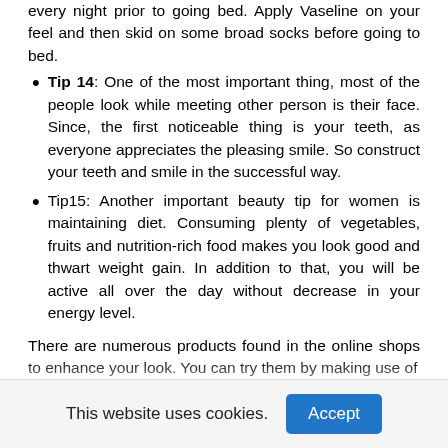every night prior to going bed. Apply Vaseline on your feel and then skid on some broad socks before going to bed.
Tip 14: One of the most important thing, most of the people look while meeting other person is their face. Since, the first noticeable thing is your teeth, as everyone appreciates the pleasing smile. So construct your teeth and smile in the successful way.
Tip15: Another important beauty tip for women is maintaining diet. Consuming plenty of vegetables, fruits and nutrition-rich food makes you look good and thwart weight gain. In addition to that, you will be active all over the day without decrease in your energy level.
There are numerous products found in the online shops to enhance your look. You can try them by making use of
This website uses cookies.